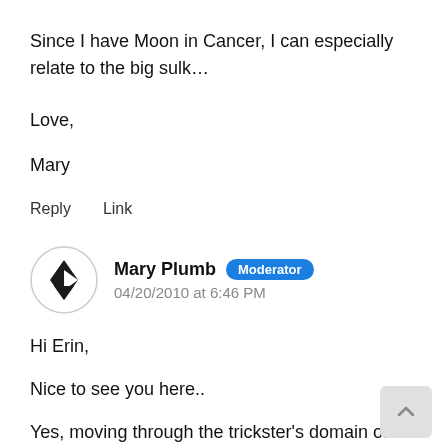Since I have Moon in Cancer, I can especially relate to the big sulk…
Love,
Mary
Reply    Link
Mary Plumb   Moderator
04/20/2010 at 6:46 PM
Hi Erin,
Nice to see you here..
Yes, moving through the trickster's domain one mor